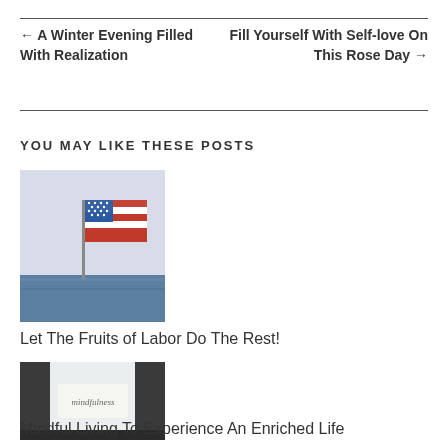← A Winter Evening Filled With Realization
Fill Yourself With Self-love On This Rose Day →
YOU MAY LIKE THESE POSTS
[Figure (photo): American flag waving against a cloudy sky and water backdrop]
Let The Fruits of Labor Do The Rest!
[Figure (photo): A handwritten sign saying 'mindfulness' in a window]
Mindful Living To Experience An Enriched Life